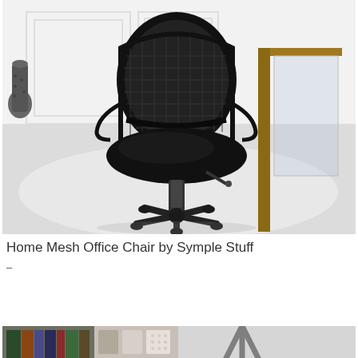[Figure (photo): Black mesh office chair with five-wheel caster base and adjustable height, photographed in a modern office setting with white wainscoting wall, glossy white tile floor, and a wooden desk with glass partition in the background. A dark metallic decorative vase is visible on the left.]
Home Mesh Office Chair by Symple Stuff
–
[Figure (photo): Bottom strip showing partial view of books and fabric swatches on the left, and a partial view of another office chair on the right.]